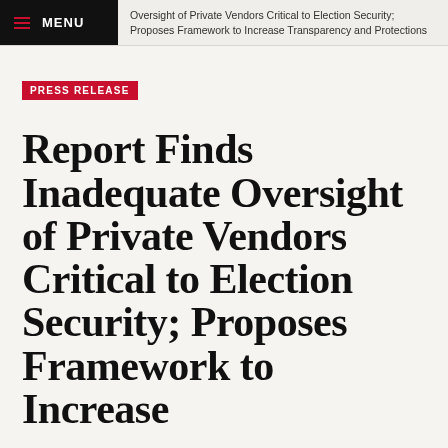MENU | Oversight of Private Vendors Critical to Election Security; Proposes Framework to Increase Transparency and Protections
PRESS RELEASE
Report Finds Inadequate Oversight of Private Vendors Critical to Election Security; Proposes Framework to Increase